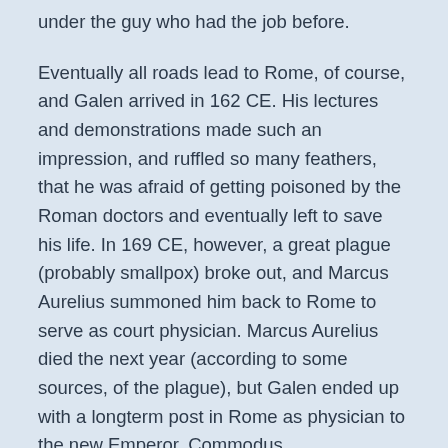under the guy who had the job before.
Eventually all roads lead to Rome, of course, and Galen arrived in 162 CE. His lectures and demonstrations made such an impression, and ruffled so many feathers, that he was afraid of getting poisoned by the Roman doctors and eventually left to save his life. In 169 CE, however, a great plague (probably smallpox) broke out, and Marcus Aurelius summoned him back to Rome to serve as court physician. Marcus Aurelius died the next year (according to some sources, of the plague), but Galen ended up with a longterm post in Rome as physician to the new Emperor, Commodus.
Galen himself died some time between 199 and 216 CE, at the the ripe old age of between 70 and 87.